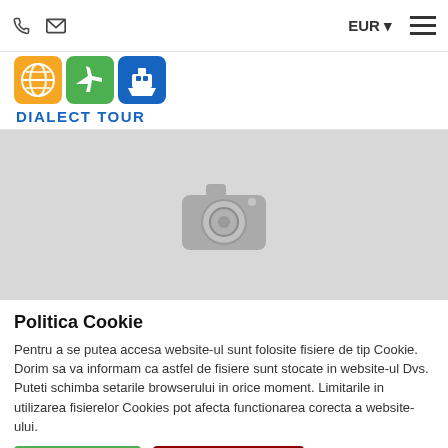☎ ✉   EUR ▾  ≡
[Figure (logo): Dialect Tour logo with three colored square icons (globe, airplane, cruise ship) and text DIALECT TOUR in blue]
[Figure (photo): Gray placeholder image with camera icon]
Politica Cookie
Pentru a se putea accesa website-ul sunt folosite fisiere de tip Cookie. Dorim sa va informam ca astfel de fisiere sunt stocate in website-ul Dvs.
Puteti schimba setarile browserului in orice moment. Limitarile in utilizarea fisierelor Cookies pot afecta functionarea corecta a website-ului.
Sunt de acord   Nu sunt de acord